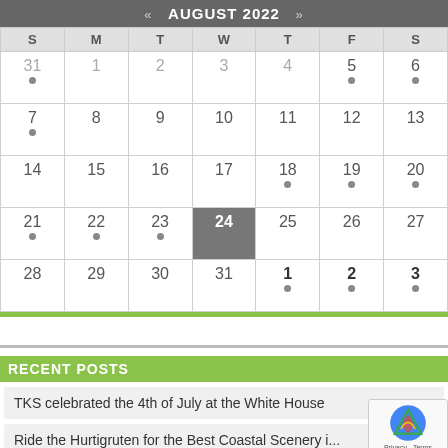| S | M | T | W | T | F | S |
| --- | --- | --- | --- | --- | --- | --- |
| 31 | 1 | 2 | 3 | 4 | 5 | 6 |
| 7 | 8 | 9 | 10 | 11 | 12 | 13 |
| 14 | 15 | 16 | 17 | 18 | 19 | 20 |
| 21 | 22 | 23 | 24 | 25 | 26 | 27 |
| 28 | 29 | 30 | 31 | 1 | 2 | 3 |
RECENT POSTS
TKS celebrated the 4th of July at the White House
Ride the Hurtigruten for the Best Coastal Scenery i...